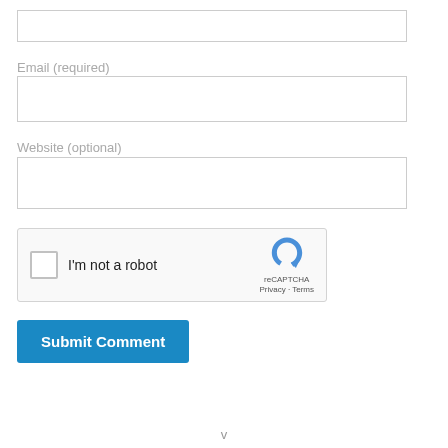[Figure (screenshot): Empty text input field at top of form]
Email (required)
[Figure (screenshot): Email input text field]
Website (optional)
[Figure (screenshot): Website input text field]
[Figure (screenshot): reCAPTCHA widget with checkbox labeled I'm not a robot and reCAPTCHA logo with Privacy and Terms links]
[Figure (screenshot): Submit Comment button in blue]
v